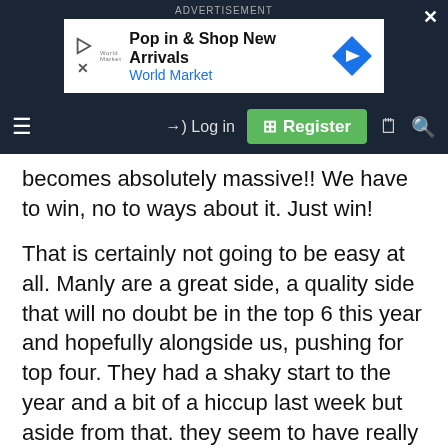ADVERTISEMENT
[Figure (screenshot): Advertisement banner: Pop in & Shop New Arrivals, World Market, with play icon, X icon, World Market logo, and a blue diamond navigation arrow icon on the right.]
becomes absolutely massive!! We have to win, no to ways about it. Just win!
That is certainly not going to be easy at all. Manly are a great side, a quality side that will no doubt be in the top 6 this year and hopefully alongside us, pushing for top four. They had a shaky start to the year and a bit of a hiccup last week but aside from that. they seem to have really found their groove. They'll be looking to bounce back in a big way and that is dangerous for us. They have plenty of strike across the park and any team with the likes of Garrick, Saab, DCE, Foran, Taupau and Trbojevic is going to be very hard to contain. They key